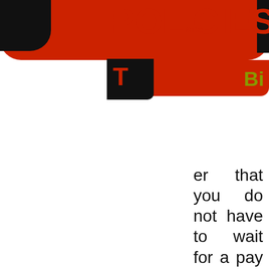POLICIES
er that you do not have to wait for a pay raise in order to increase your compensation, for we have implemented two